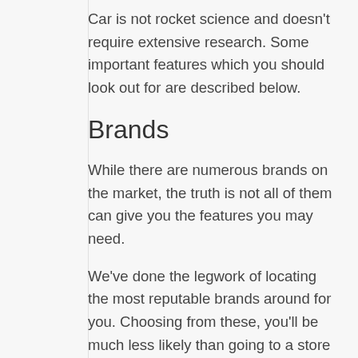Car is not rocket science and doesn't require extensive research. Some important features which you should look out for are described below.
Brands
While there are numerous brands on the market, the truth is not all of them can give you the features you may need.
We've done the legwork of locating the most reputable brands around for you. Choosing from these, you'll be much less likely than going to a store and grabbing something without